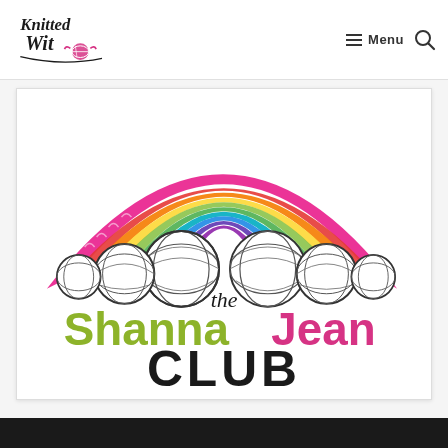Knitted Wit — Menu (navigation header)
[Figure (logo): The Shanna Jean Club logo: colorful rainbow knit stitch arc with yarn balls on each side, text 'the ShannaJean CLUB' in olive green, pink, and black]